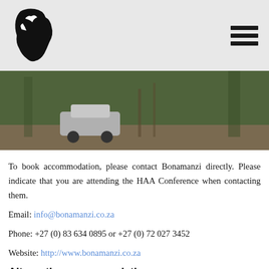[Figure (photo): Outdoor camping scene with a car and a tent among trees]
To book accommodation, please contact Bonamanzi directly. Please indicate that you are attending the HAA Conference when contacting them.
Email: info@bonamanzi.co.za
Phone: +27 (0) 83 634 0895 or +27 (0) 72 027 3452
Website: http://www.bonamanzi.co.za
Alternative accommodation
The immediate surrounding area offers several